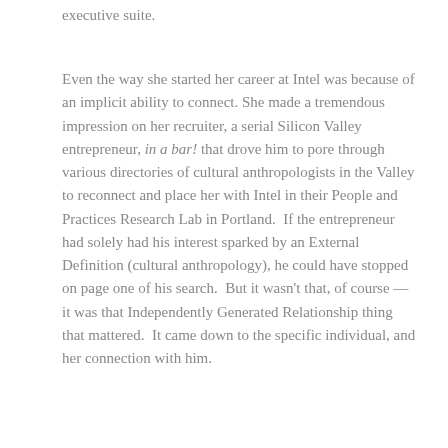executive suite.
Even the way she started her career at Intel was because of an implicit ability to connect. She made a tremendous impression on her recruiter, a serial Silicon Valley entrepreneur, in a bar! that drove him to pore through various directories of cultural anthropologists in the Valley to reconnect and place her with Intel in their People and Practices Research Lab in Portland.  If the entrepreneur had solely had his interest sparked by an External Definition (cultural anthropology), he could have stopped on page one of his search.  But it wasn't that, of course — it was that Independently Generated Relationship thing that mattered.  It came down to the specific individual, and her connection with him.